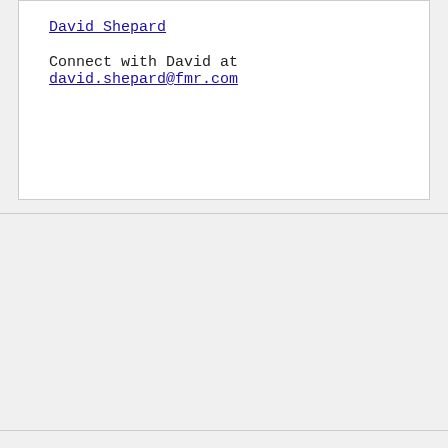David Shepard
Connect with David at david.shepard@fmr.com